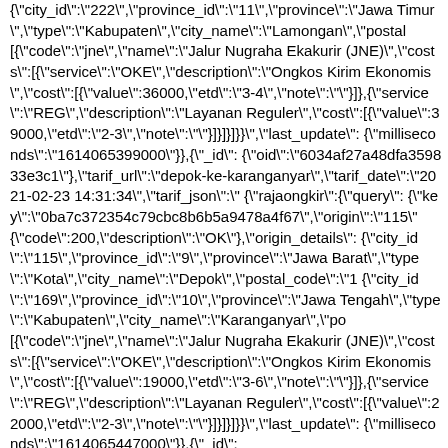{"city_id":"222","province_id":"11","province":"Jawa Timur","type":"Kabupaten","city_name":"Lamongan","postal [{"code":"jne","name":"Jalur Nugraha Ekakurir (JNE)","costs":[{"service":"OKE","description":"Ongkos Kirim Ekonomis","cost":[{"value":36000,"etd":"3-4","note":""}]},{"service":"REG","description":"Layanan Reguler","cost":[{"value":39000,"etd":"2-3","note":""}]}]}]}}","last_update": {"milliseconds":"1614065399000"}},{"_id": {"oid":"6034af27a48dfa359833e3c1"},"tarif_url":"depok-ke-karanganyar","tarif_date":"2021-02-23 14:31:34","tarif_json":"{"rajaongkir":{"query": {"key":"0ba7c372354c79cbc8b6b5a9478a4f67","origin":"115" {"code":200,"description":"OK"},"origin_details": {"city_id":"115","province_id":"9","province":"Jawa Barat","type":"Kota","city_name":"Depok","postal_code":"1 {"city_id":"169","province_id":"10","province":"Jawa Tengah","type":"Kabupaten","city_name":"Karanganyar","po [{"code":"jne","name":"Jalur Nugraha Ekakurir (JNE)","costs":[{"service":"OKE","description":"Ongkos Kirim Ekonomis","cost":[{"value":19000,"etd":"3-6","note":""}]},{"service":"REG","description":"Layanan Reguler","cost":[{"value":22000,"etd":"2-3","note":""}]}]}]}}","last_update": {"milliseconds":"1614065447000"},{"_id":